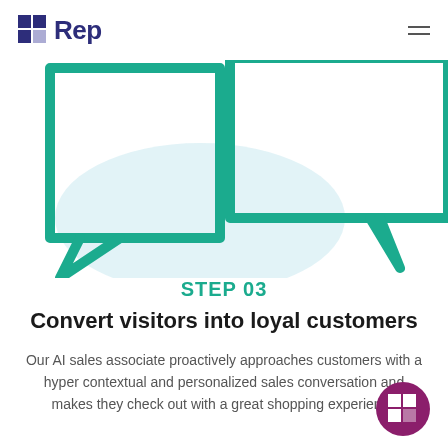[Figure (logo): Rep logo: dark blue R icon beside bold dark blue text 'Rep']
[Figure (illustration): Teal/turquoise speech bubble outlines and a light blue blob shape, cropped illustration of chat/conversation icons]
STEP 03
Convert visitors into loyal customers
Our AI sales associate proactively approaches customers with a hyper contextual and personalized sales conversation and makes they check out with a great shopping experience